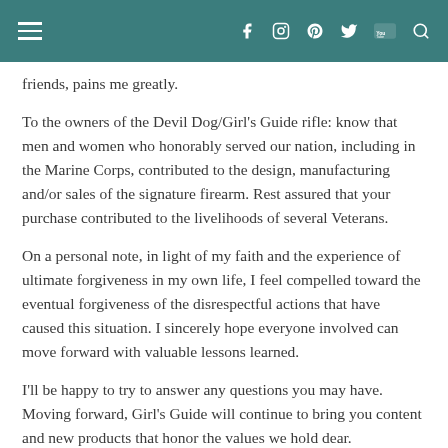navigation bar with hamburger menu and social icons
friends, pains me greatly.
To the owners of the Devil Dog/Girl’s Guide rifle: know that men and women who honorably served our nation, including in the Marine Corps, contributed to the design, manufacturing and/or sales of the signature firearm. Rest assured that your purchase contributed to the livelihoods of several Veterans.
On a personal note, in light of my faith and the experience of ultimate forgiveness in my own life, I feel compelled toward the eventual forgiveness of the disrespectful actions that have caused this situation. I sincerely hope everyone involved can move forward with valuable lessons learned.
I’ll be happy to try to answer any questions you may have. Moving forward, Girl’s Guide will continue to bring you content and new products that honor the values we hold dear.